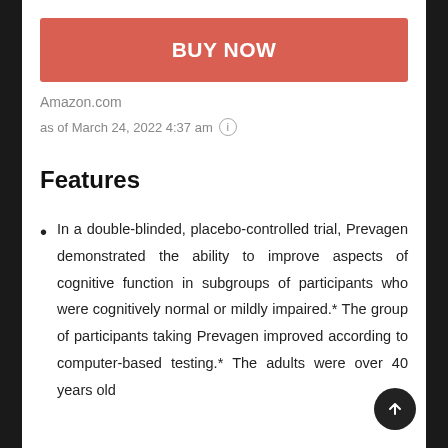[Figure (other): Red 'BUY NOW' button (Amazon product page UI element)]
Amazon.com
as of March 24, 2022 4:37 am ℹ
Features
In a double-blinded, placebo-controlled trial, Prevagen demonstrated the ability to improve aspects of cognitive function in subgroups of participants who were cognitively normal or mildly impaired.* The group of participants taking Prevagen improved according to computer-based testing.* The adults were over 40 years old